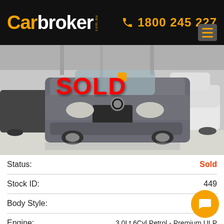Carbroker.com.au | 1800 245 227
[Figure (photo): BMW 2 Series Convertible in grey, shown in a dealership showroom with a 'SOLD' stamp overlaid on the front of the car. Other vehicles visible in background.]
| Field | Value |
| --- | --- |
| Status: | Sold |
| Stock ID: | 449 |
| Body Style: | Conve... |
| Engine: | 3.0Lt 6Cyl Petrol - Premium ULP |